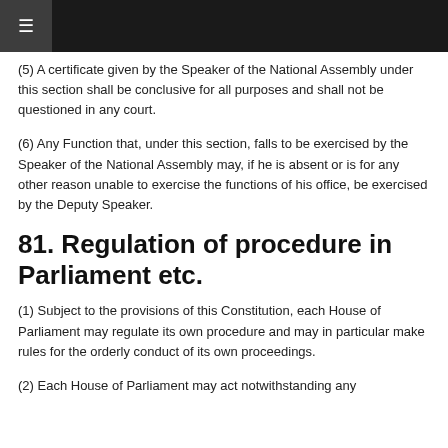(5) A certificate given by the Speaker of the National Assembly under this section shall be conclusive for all purposes and shall not be questioned in any court.
(6) Any Function that, under this section, falls to be exercised by the Speaker of the National Assembly may, if he is absent or is for any other reason unable to exercise the functions of his office, be exercised by the Deputy Speaker.
81. Regulation of procedure in Parliament etc.
(1) Subject to the provisions of this Constitution, each House of Parliament may regulate its own procedure and may in particular make rules for the orderly conduct of its own proceedings.
(2) Each House of Parliament may act notwithstanding any